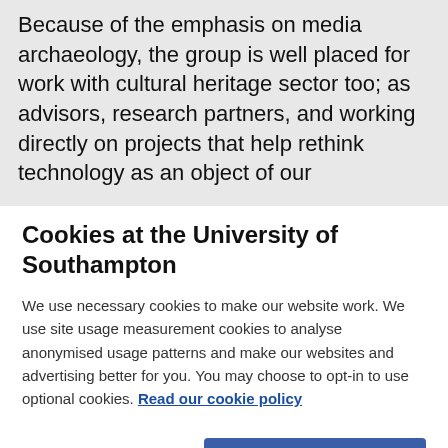Because of the emphasis on media archaeology, the group is well placed for work with cultural heritage sector too; as advisors, research partners, and working directly on projects that help rethink technology as an object of our
Cookies at the University of Southampton
We use necessary cookies to make our website work. We use site usage measurement cookies to analyse anonymised usage patterns and make our websites and advertising better for you. You may choose to opt-in to use optional cookies. Read our cookie policy
Change Settings
Accept and continue